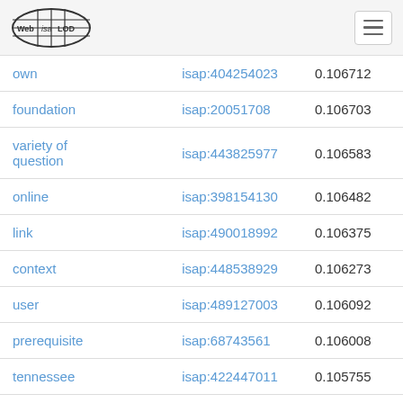Web isa LOD [logo] [menu]
| own | isap:404254023 | 0.106712 |
| foundation | isap:20051708 | 0.106703 |
| variety of question | isap:443825977 | 0.106583 |
| online | isap:398154130 | 0.106482 |
| link | isap:490018992 | 0.106375 |
| context | isap:448538929 | 0.106273 |
| user | isap:489127003 | 0.106092 |
| prerequisite | isap:68743561 | 0.106008 |
| tennessee | isap:422447011 | 0.105755 |
| administrator | isap:22231705 | 0.105649 |